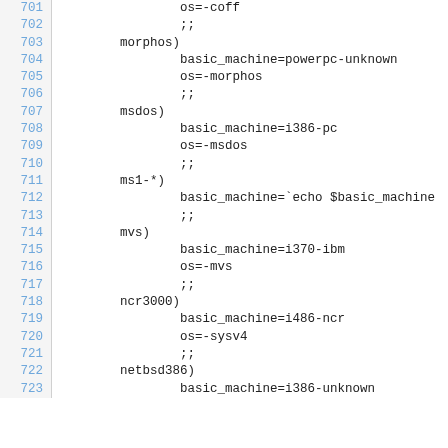Code listing lines 701-723 showing shell script case statements for OS/machine type detection
701    os=-coff
702    ;;
703    morphos)
704        basic_machine=powerpc-unknown
705        os=-morphos
706        ;;
707    msdos)
708        basic_machine=i386-pc
709        os=-msdos
710        ;;
711    ms1-*)
712        basic_machine=`echo $basic_machine
713        ;;
714    mvs)
715        basic_machine=i370-ibm
716        os=-mvs
717        ;;
718    ncr3000)
719        basic_machine=i486-ncr
720        os=-sysv4
721        ;;
722    netbsd386)
723        basic_machine=i386-unknown